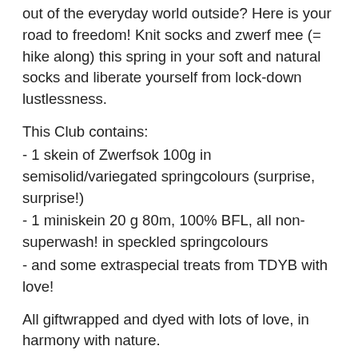out of the everyday world outside? Here is your road to freedom! Knit socks and zwerf mee (= hike along) this spring in your soft and natural socks and liberate yourself from lock-down lustlessness.
This Club contains:
- 1 skein of Zwerfsok 100g in semisolid/variegated springcolours (surprise, surprise!)
- 1 miniskein 20 g 80m, 100% BFL, all non-superwash! in speckled springcolours
- and some extraspecial treats from TDYB with love!
All giftwrapped and dyed with lots of love, in harmony with nature.
Zwerfsok Fingering weight sock yarn with merino,